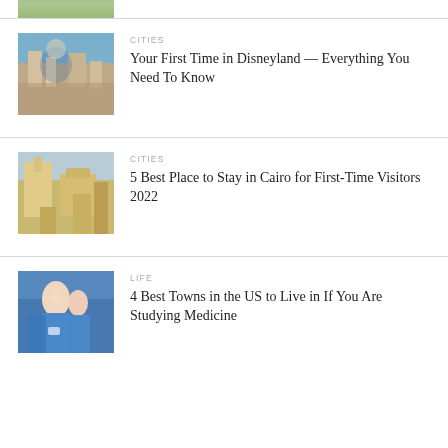[Figure (photo): Partial image at top of page, cropped travel/city photo]
CITIES
Your First Time in Disneyland — Everything You Need To Know
[Figure (photo): Crowd scene at Disneyland with castle and statue]
CITIES
5 Best Place to Stay in Cairo for First-Time Visitors 2022
[Figure (photo): Aerial view of Cairo with mosques and ancient architecture]
LIFE
4 Best Towns in the US to Live in If You Are Studying Medicine
[Figure (photo): Medical professionals in blue scrubs smiling]